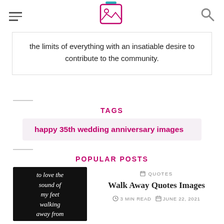[hamburger menu] [logo icon] [search icon]
the limits of everything with an insatiable desire to contribute to the community.
TAGS
happy 35th wedding anniversary images
POPULAR POSTS
[Figure (photo): Quote image on dark background with text: to love the sound of my feet walking away from things not meant for]
QUOTES
Walk Away Quotes Images
3 MIN READ   JUNE 22, 2021